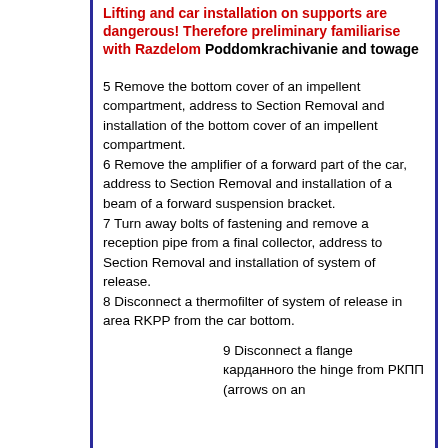Lifting and car installation on supports are dangerous! Therefore preliminary familiarise with Razdelom Poddomkrachivanie and towage
5 Remove the bottom cover of an impellent compartment, address to Section Removal and installation of the bottom cover of an impellent compartment.
6 Remove the amplifier of a forward part of the car, address to Section Removal and installation of a beam of a forward suspension bracket.
7 Turn away bolts of fastening and remove a reception pipe from a final collector, address to Section Removal and installation of system of release.
8 Disconnect a thermofilter of system of release in area RKPP from the car bottom.
9 Disconnect a flange карданного the hinge from РКПП (arrows on an